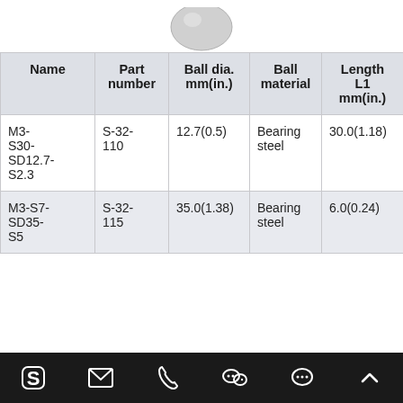[Figure (other): Partial view of a ball/sphere component shown at the top of the page]
| Name | Part number | Ball dia. mm(in.) | Ball material | Length L1 mm(in.) |
| --- | --- | --- | --- | --- |
| M3-S30-SD12.7-S2.3 | S-32-110 | 12.7(0.5) | Bearing steel | 30.0(1.18) |
| M3-S7-SD35-S5 | S-32-115 | 35.0(1.38) | Bearing steel | 6.0(0.24) |
Skype | Email | Phone | WeChat | Chat | Up